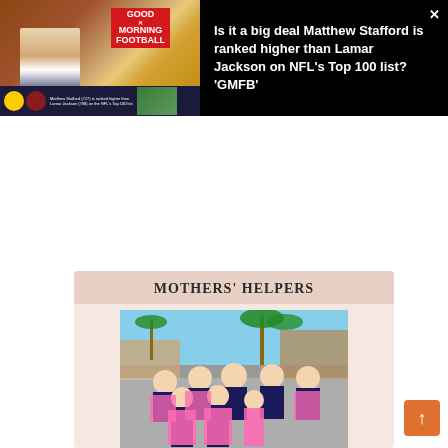[Figure (screenshot): Video overlay showing Good Morning Football TV show screenshot with a host in white shirt in front of yellow Good Morning Football logo backdrop, with team logos and lower-third text about Matthew Stafford ranking.]
Is it a big deal Matthew Stafford is ranked higher than Lamar Jackson on NFL's Top 100 list? 'GMFB'
[Figure (photo): Group photo of women and girls wearing pink aprons outdoors, with palm trees and buildings in background. Header reads MOTHERS' HELPERS.]